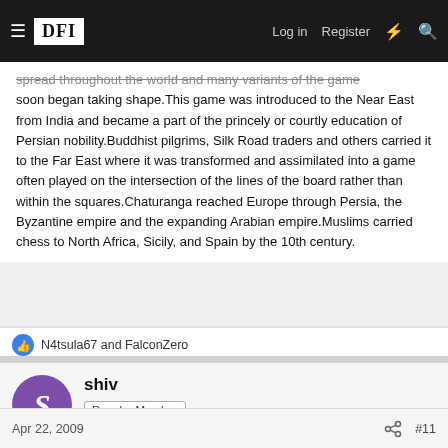DFI — Log in  Register
spread throughout the world and many variants of the game soon began taking shape.This game was introduced to the Near East from India and became a part of the princely or courtly education of Persian nobility.Buddhist pilgrims, Silk Road traders and others carried it to the Far East where it was transformed and assimilated into a game often played on the intersection of the lines of the board rather than within the squares.Chaturanga reached Europe through Persia, the Byzantine empire and the expanding Arabian empire.Muslims carried chess to North Africa, Sicily, and Spain by the 10th century.
N4tsula67 and FalconZero
shiv
Regular Member
Apr 22, 2009  #11